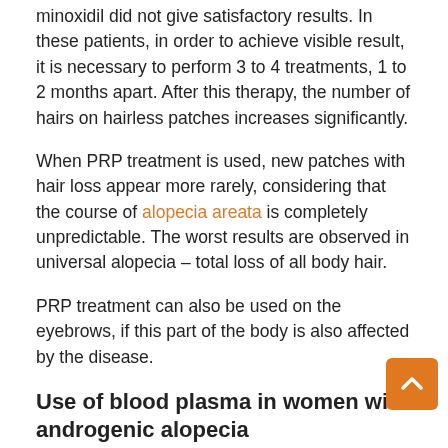minoxidil did not give satisfactory results. In these patients, in order to achieve visible result, it is necessary to perform 3 to 4 treatments, 1 to 2 months apart. After this therapy, the number of hairs on hairless patches increases significantly.
When PRP treatment is used, new patches with hair loss appear more rarely, considering that the course of alopecia areata is completely unpredictable. The worst results are observed in universal alopecia – total loss of all body hair.
PRP treatment can also be used on the eyebrows, if this part of the body is also affected by the disease.
Use of blood plasma in women with androgenic alopecia
When it comes to androgenic alopecia in women, PRP treatment have shown good results in more than 80 percent of cases. The PRP method is used…